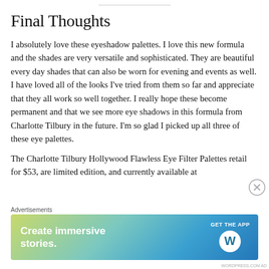Final Thoughts
I absolutely love these eyeshadow palettes. I love this new formula and the shades are very versatile and sophisticated. They are beautiful every day shades that can also be worn for evening and events as well. I have loved all of the looks I've tried from them so far and appreciate that they all work so well together. I really hope these become permanent and that we see more eye shadows in this formula from Charlotte Tilbury in the future. I'm so glad I picked up all three of these eye palettes.
The Charlotte Tilbury Hollywood Flawless Eye Filter Palettes retail for $53, are limited edition, and currently available at
[Figure (other): Advertisement banner: 'Create immersive stories. GET THE APP' with WordPress logo, on a blue-green-yellow gradient background.]